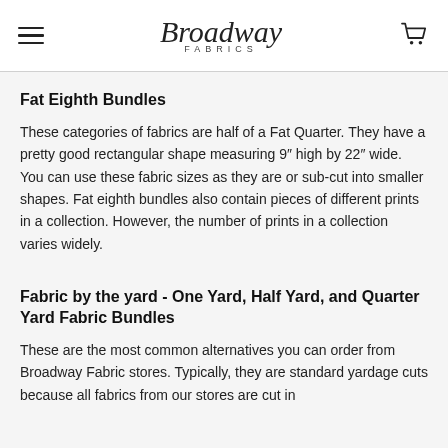Broadway Fabrics
Fat Eighth Bundles
These categories of fabrics are half of a Fat Quarter. They have a pretty good rectangular shape measuring 9" high by 22" wide. You can use these fabric sizes as they are or sub-cut into smaller shapes. Fat eighth bundles also contain pieces of different prints in a collection. However, the number of prints in a collection varies widely.
Fabric by the yard - One Yard, Half Yard, and Quarter Yard Fabric Bundles
These are the most common alternatives you can order from Broadway Fabric stores. Typically, they are standard yardage cuts because all fabrics from our stores are cut in